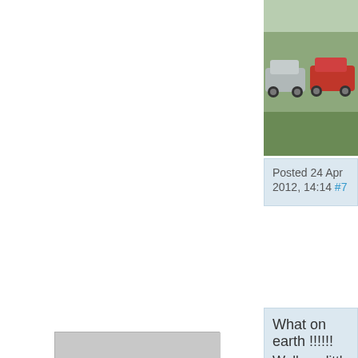[Figure (photo): Two estate cars parked on grass - one silver/grey and one red, photographed outdoors]
Posted 24 Apr 2012, 14:14 #7
[Figure (illustration): Generic user avatar - grey silhouette of a person]
podge
What on earth !!!!!!
Well our little beauty is going back on the roa
[Figure (photo): Classic vintage car photographed outdoors with green countryside and trees in background]